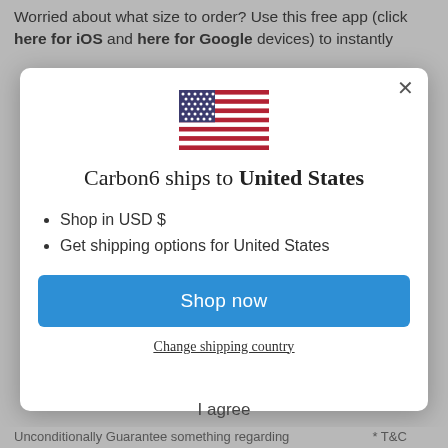Worried about what size to order? Use this free app (click here for iOS and here for Google devices) to instantly
[Figure (screenshot): Modal dialog popup showing US flag, title 'Carbon6 ships to United States', bullet points for USD and shipping options, a blue 'Shop now' button, and a 'Change shipping country' link with a close (X) button]
I agree
Unconditionally Guarantee something regarding * T&C